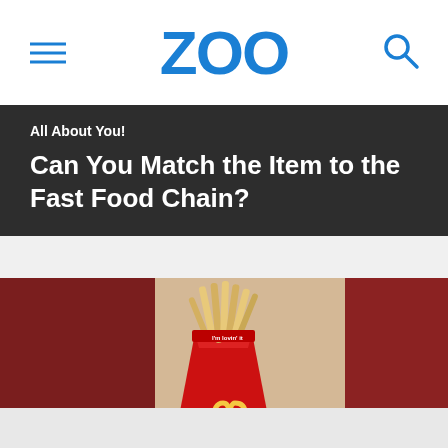ZOO
All About You!
Can You Match the Item to the Fast Food Chain?
[Figure (photo): Close-up photograph of McDonald's french fries in a red McDonald's fry container with the golden arches logo, held by a hand, against a dark red/maroon background]
All About You!